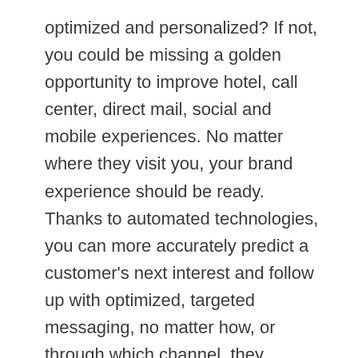optimized and personalized? If not, you could be missing a golden opportunity to improve hotel, call center, direct mail, social and mobile experiences. No matter where they visit you, your brand experience should be ready. Thanks to automated technologies, you can more accurately predict a customer's next interest and follow up with optimized, targeted messaging, no matter how, or through which channel, they access your brand.

Combining this data with CRM data in real